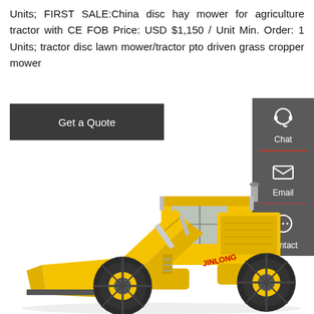Units; FIRST SALE:China disc hay mower for agriculture tractor with CE FOB Price: USD $1,150 / Unit Min. Order: 1 Units; tractor disc lawn mower/tractor pto driven grass cropper mower
[Figure (other): Dark gray button labeled 'Get a Quote']
[Figure (infographic): Gray sidebar with Chat (headset icon), Email (envelope icon), and Contact (speech bubble icon) options separated by red dividers]
[Figure (photo): Yellow JINLONG front-end wheel loader construction machine with large bucket on white background]